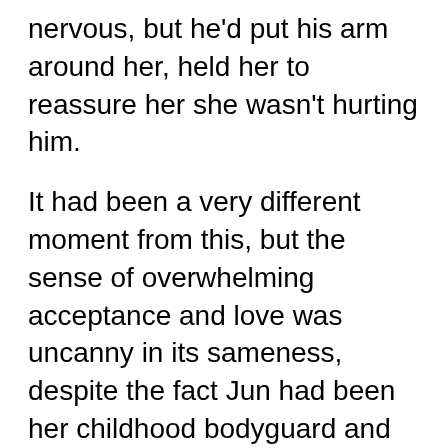nervous, but he'd put his arm around her, held her to reassure her she wasn't hurting him.
It had been a very different moment from this, but the sense of overwhelming acceptance and love was uncanny in its sameness, despite the fact Jun had been her childhood bodyguard and she'd just met this man. While intense circumstances could provoke a certain amount of intimacy, it couldn't explain a level this high. Her body was gathering under the sensual assault of his. It had been a while since an orgasm had been more than just a release. This was magic. Powerful energy, almost a sorcery of its own, capable of